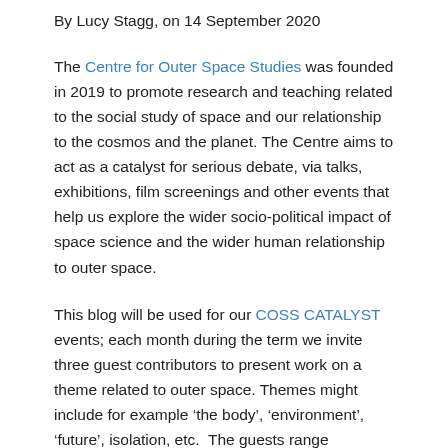By Lucy Stagg, on 14 September 2020
The Centre for Outer Space Studies was founded in 2019 to promote research and teaching related to the social study of space and our relationship to the cosmos and the planet. The Centre aims to act as a catalyst for serious debate, via talks, exhibitions, film screenings and other events that help us explore the wider socio-political impact of space science and the wider human relationship to outer space.
This blog will be used for our COSS CATALYST events; each month during the term we invite three guest contributors to present work on a theme related to outer space. Themes might include for example ‘the body’, ‘environment’, ‘future’, isolation, etc.  The guests range